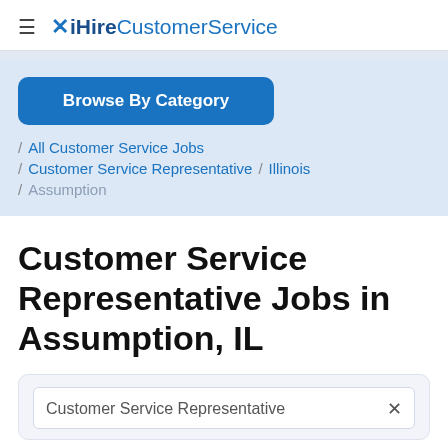iHireCustomerService
Browse By Category
/ All Customer Service Jobs
/ Customer Service Representative / Illinois
/ Assumption
Customer Service Representative Jobs in Assumption, IL
Customer Service Representative